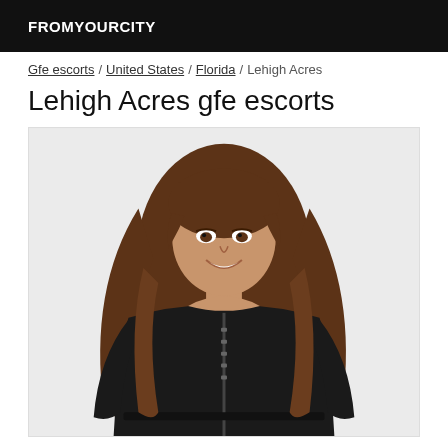FROMYOURCITY
Gfe escorts / United States / Florida / Lehigh Acres
Lehigh Acres gfe escorts
[Figure (photo): Person with long brown hair wearing a black zip-up crop jacket, smiling, photographed against a white background]